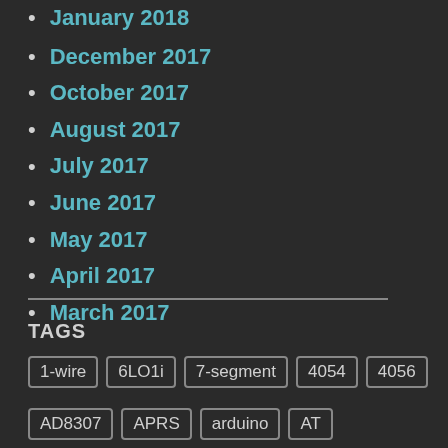January 2018
December 2017
October 2017
August 2017
July 2017
June 2017
May 2017
April 2017
March 2017
TAGS
1-wire  6LO1i  7-segment  4054  4056
AD8307  APRS  arduino  AT